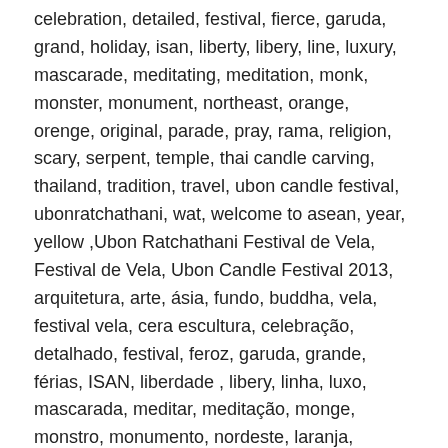celebration, detailed, festival, fierce, garuda, grand, holiday, isan, liberty, libery, line, luxury, mascarade, meditating, meditation, monk, monster, monument, northeast, orange, orenge, original, parade, pray, rama, religion, scary, serpent, temple, thai candle carving, thailand, tradition, travel, ubon candle festival, ubonratchathani, wat, welcome to asean, year, yellow ,Ubon Ratchathani Festival de Vela, Festival de Vela, Ubon Candle Festival 2013, arquitetura, arte, ásia, fundo, buddha, vela, festival vela, cera escultura, celebração, detalhado, festival, feroz, garuda, grande, férias, ISAN, liberdade , libery, linha, luxo, mascarada, meditar, meditação, monge, monstro, monumento, nordeste, laranja, orenge original, desfile, orar, rama, religião, assustador, serpente, templo, thai vela escultura, tailândia, tradição, viagem , festival vela ubon, Ubonratchathani, wat, bem-vindo à ASEAN, ano, amarelo,
Advertising Area :
[shutterstock keywords=" Ubon Ratchathani Candle Festival "